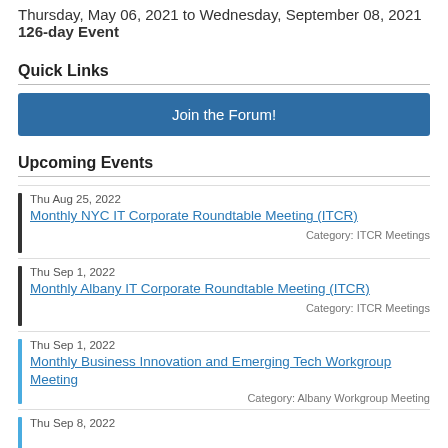Thursday, May 06, 2021 to Wednesday, September 08, 2021
126-day Event
Quick Links
Join the Forum!
Upcoming Events
Thu Aug 25, 2022
Monthly NYC IT Corporate Roundtable Meeting (ITCR)
Category: ITCR Meetings
Thu Sep 1, 2022
Monthly Albany IT Corporate Roundtable Meeting (ITCR)
Category: ITCR Meetings
Thu Sep 1, 2022
Monthly Business Innovation and Emerging Tech Workgroup Meeting
Category: Albany Workgroup Meeting
Thu Sep 8, 2022